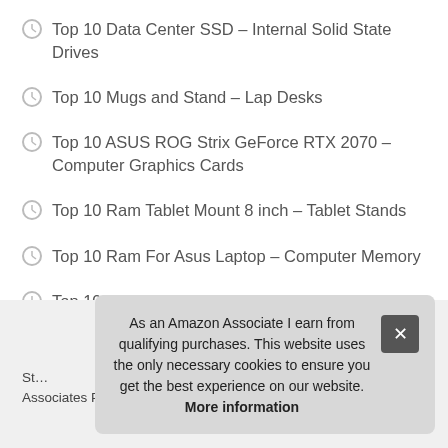Top 10 Data Center SSD – Internal Solid State Drives
Top 10 Mugs and Stand – Lap Desks
Top 10 ASUS ROG Strix GeForce RTX 2070 – Computer Graphics Cards
Top 10 Ram Tablet Mount 8 inch – Tablet Stands
Top 10 Ram For Asus Laptop – Computer Memory
Top 10 Drawstring Velvet Bag – Tablet Sleeves
As an Amazon Associate I earn from qualifying purchases. This website uses the only necessary cookies to ensure you get the best experience on our website. More information
St… Associates Program, an affiliate advertising program designed